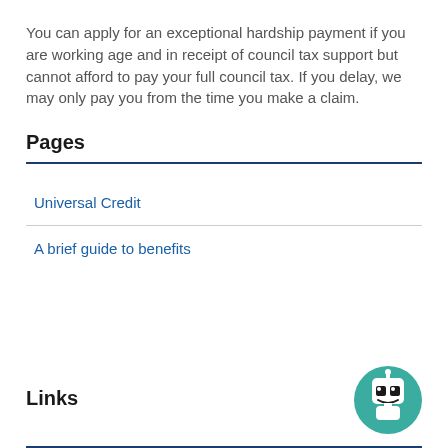You can apply for an exceptional hardship payment if you are working age and in receipt of council tax support but cannot afford to pay your full council tax. If you delay, we may only pay you from the time you make a claim.
Pages
Universal Credit
A brief guide to benefits
Links